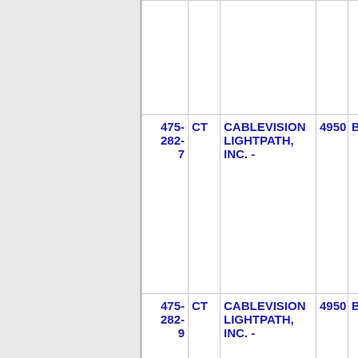| Number | State | Name | Code | Address |
| --- | --- | --- | --- | --- |
| 475-282-7 | CT | CABLEVISION LIGHTPATH, INC. - | 4950 | BRIDG... |
| 475-282-9 | CT | CABLEVISION LIGHTPATH, INC. - | 4950 | BRIDG... |